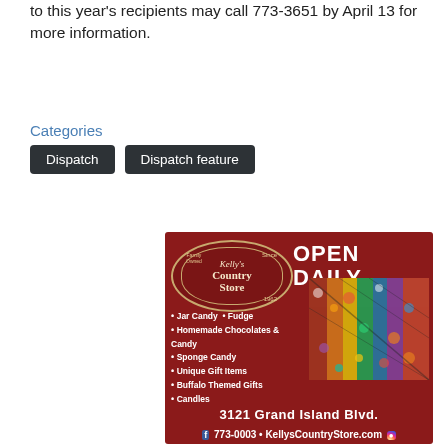to this year's recipients may call 773-3651 by April 13 for more information.
Categories
Dispatch
Dispatch feature
[Figure (illustration): Kelly's Country Store advertisement. Dark red background. Logo with Kelly's Country Store, Family Owned, Since 1962. OPEN DAILY header. Photo of colorful candy. Bullet list: Jar Candy, Fudge, Homemade Chocolates & Candy, Sponge Candy, Unique Gift Items, Buffalo Themed Gifts, Candles. Address: 3121 Grand Island Blvd. Phone: 773-0003. Website: KellysCountryStore.com]